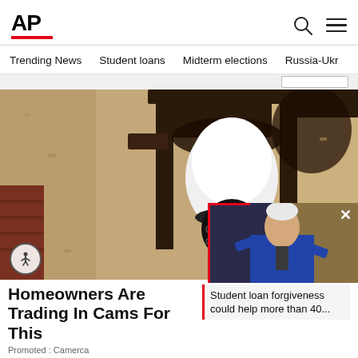AP
Trending News
Student loans
Midterm elections
Russia-Ukr
[Figure (photo): A white security camera disguised as a light bulb, mounted in a black outdoor lantern bracket on a textured stucco wall]
Homeowners Are Trading In Cams For This
Promoted : Camerca
[Figure (screenshot): Picture-in-picture video overlay showing a man in a blue suit speaking, with a red left border and caption about student loan forgiveness]
Student loan forgiveness could help more than 40...